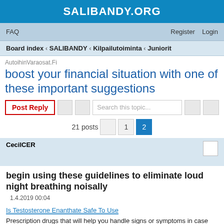SALIBANDY.ORG
FAQ   Register   Login
Board index ‹ SALIBANDY ‹ Kilpailutoiminta ‹ Juniorit
AutoihinVaraosat.Fi
boost your financial situation with one of these important suggestions
Post Reply   Search this topic...   21 posts   1   2
CecilCER
begin using these guidelines to eliminate loud night breathing noisally
1.4.2019 00:04
Is Testosterone Enanthate Safe To Use
Prescription drugs that will help you handle signs or symptoms in case you have an attack are dental corticosteroids and bronchodilators.